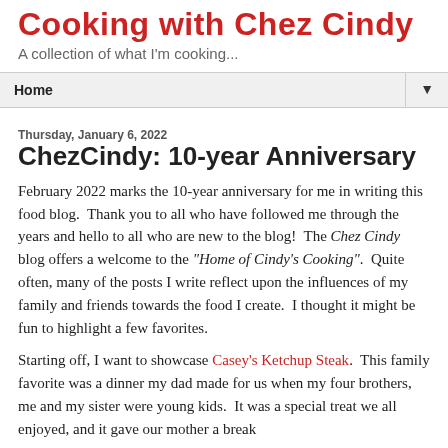Cooking with Chez Cindy
A collection of what I'm cooking...
Home
Thursday, January 6, 2022
ChezCindy: 10-year Anniversary
February 2022 marks the 10-year anniversary for me in writing this food blog.  Thank you to all who have followed me through the years and hello to all who are new to the blog!  The Chez Cindy blog offers a welcome to the "Home of Cindy's Cooking".  Quite often, many of the posts I write reflect upon the influences of my family and friends towards the food I create.  I thought it might be fun to highlight a few favorites.
Starting off, I want to showcase Casey's Ketchup Steak.  This family favorite was a dinner my dad made for us when my four brothers, me and my sister were young kids.  It was a special treat we all enjoyed, and it gave our mother a break